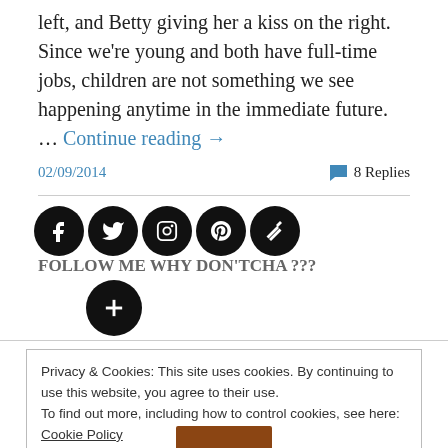left, and Betty giving her a kiss on the right. Since we're young and both have full-time jobs, children are not something we see happening anytime in the immediate future. … Continue reading →
02/09/2014
8 Replies
[Figure (infographic): Social media follow icons (Facebook, Twitter, Instagram, Pinterest, Feedly, Google+) with text FOLLOW ME WHY DON'TCHA ???]
Privacy & Cookies: This site uses cookies. By continuing to use this website, you agree to their use.
To find out more, including how to control cookies, see here: Cookie Policy
Close and accept